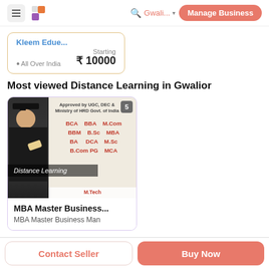Gwali... | Manage Business
Kleem Edue...
All Over India
Starting ₹10000
Most viewed Distance Learning in Gwalior
[Figure (photo): Distance learning course listing card showing a graduation photo with course offerings (BCA, BBA, M.Com, BBM, B.Sc, MBA, BA, DCA, M.Sc, B.Com, PG, MCA) approved by UGC, DEC & Ministry of HRD Govt. of India. Badge number 5 shown.]
MBA Master Business...
MBA Master Business Man